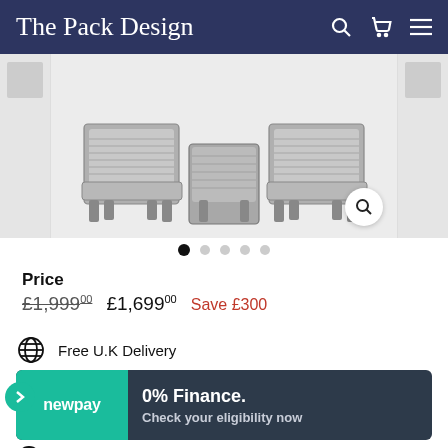The Pack Design
[Figure (photo): Product image showing rattan/wicker outdoor furniture chairs and table in grey, displayed in a product carousel with thumbnail strips on left and right]
Price
£1,999.00  £1,699.00  Save £300
Free U.K Delivery
0% Finance. Check your eligibility now